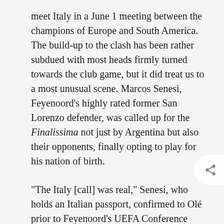meet Italy in a June 1 meeting between the champions of Europe and South America. The build-up to the clash has been rather subdued with most heads firmly turned towards the club game, but it did treat us to a most unusual scene. Marcos Senesi, Feyenoord's highly rated former San Lorenzo defender, was called up for the Finalissima not just by Argentina but also their opponents, finally opting to play for his nation of birth.
“The Italy [call] was real,” Senesi, who holds an Italian passport, confirmed to Olé prior to Feyenoord's UEFA Conference League final defeat to Roma on Wednesday. I am in contact with